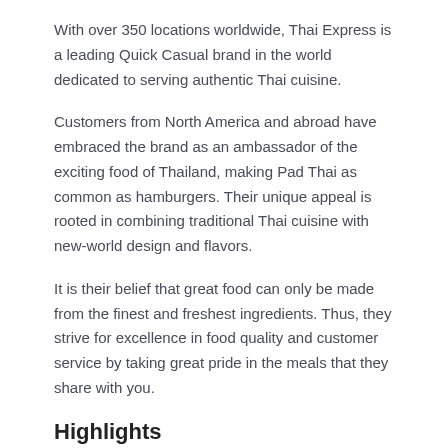With over 350 locations worldwide, Thai Express is a leading Quick Casual brand in the world dedicated to serving authentic Thai cuisine.
Customers from North America and abroad have embraced the brand as an ambassador of the exciting food of Thailand, making Pad Thai as common as hamburgers. Their unique appeal is rooted in combining traditional Thai cuisine with new-world design and flavors.
It is their belief that great food can only be made from the finest and freshest ingredients. Thus, they strive for excellence in food quality and customer service by taking great pride in the meals that they share with you.
Highlights